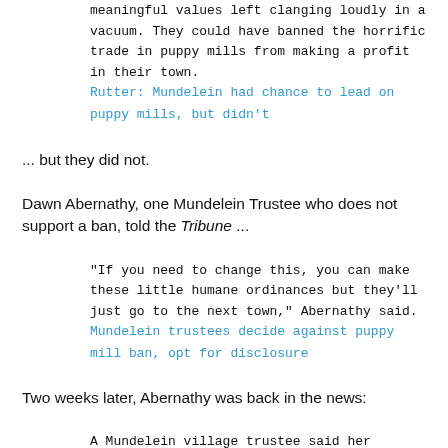meaningful values left clanging loudly in a vacuum. They could have banned the horrific trade in puppy mills from making a profit in their town.
Rutter: Mundelein had chance to lead on puppy mills, but didn't
... but they did not.
Dawn Abernathy, one Mundelein Trustee who does not support a ban, told the Tribune ...
"If you need to change this, you can make these little humane ordinances but they'll just go to the next town," Abernathy said.
Mundelein trustees decide against puppy mill ban, opt for disclosure
Two weeks later, Abernathy was back in the news:
A Mundelein village trustee said her election petition packet was taken from her car sometime this week. Dawn Abernathy said